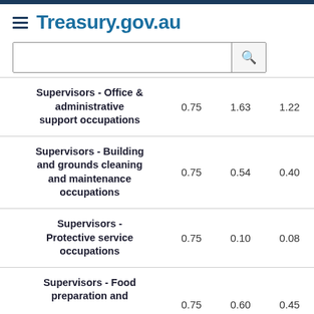Treasury.gov.au
| Occupation | Col1 | Col2 | Col3 |
| --- | --- | --- | --- |
| Supervisors - Office & administrative support occupations | 0.75 | 1.63 | 1.22 |
| Supervisors - Building and grounds cleaning and maintenance occupations | 0.75 | 0.54 | 0.40 |
| Supervisors - Protective service occupations | 0.75 | 0.10 | 0.08 |
| Supervisors - Food preparation and | 0.75 | 0.60 | 0.45 |